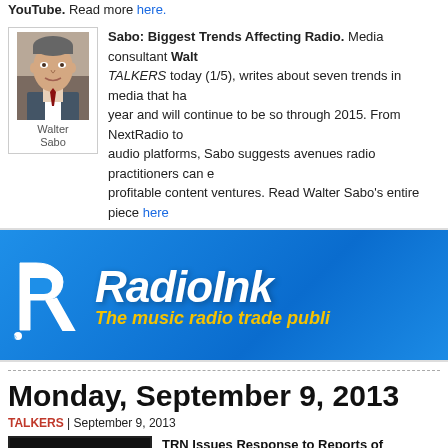YouTube.  Read more here.
Sabo: Biggest Trends Affecting Radio. Media consultant Walter TALKERS today (1/5), writes about seven trends in media that ha year and will continue to be so through 2015. From NextRadio to audio platforms, Sabo suggests avenues radio practitioners can e profitable content ventures. Read Walter Sabo's entire piece here
[Figure (photo): Headshot photo of Walter Sabo, a man in a suit, with caption 'Walter Sabo']
[Figure (logo): RadioInk advertisement banner - blue background with white RadioInk logo and yellow tagline 'The music radio trade publi...']
Monday, September 9, 2013
TALKERS | September 9, 2013
[Figure (logo): TRN Talk Radio Network logo - black background with oval TRN logo]
TRN Issues Response to Reports of Financial Prob TALKERS magazine has received a press release from Mark Masters in response to reports of financial prob the full press statement as received from TRN at 2:30
ARE YOU DIAL GLOBAL'S (WESTWOOD ONE'S) NEXT